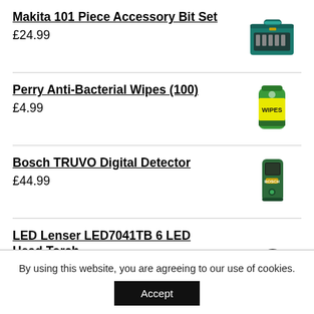Makita 101 Piece Accessory Bit Set
£24.99
[Figure (photo): Makita 101 Piece Accessory Bit Set - tool case with accessories]
Perry Anti-Bacterial Wipes (100)
£4.99
[Figure (photo): Perry Anti-Bacterial Wipes container, green bottle labelled WIPES]
Bosch TRUVO Digital Detector
£44.99
[Figure (photo): Bosch TRUVO Digital Detector - green rectangular device]
LED Lenser LED7041TB 6 LED Head Torch
£13.50
[Figure (photo): LED Lenser LED7041TB 6 LED Head Torch - black headlamp]
By using this website, you are agreeing to our use of cookies.
Accept